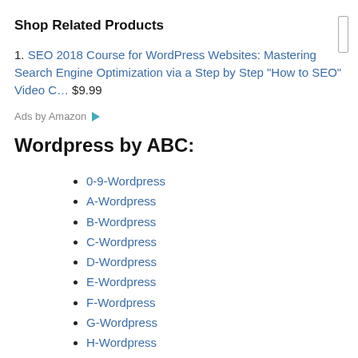Shop Related Products
SEO 2018 Course for WordPress Websites: Mastering Search Engine Optimization via a Step by Step "How to SEO" Video C…  $9.99
Ads by Amazon
Wordpress by ABC:
0-9-Wordpress
A-Wordpress
B-Wordpress
C-Wordpress
D-Wordpress
E-Wordpress
F-Wordpress
G-Wordpress
H-Wordpress
I-Wordpress
J-Wordpress